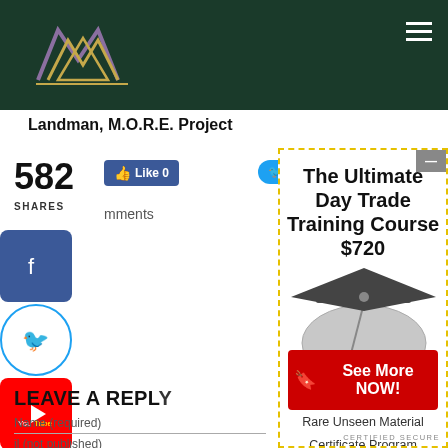Landman, M.O.R.E. Project
582 SHARES
Like 0
Twe
mments
[Figure (logo): Social media share icons: Facebook, Twitter, YouTube, Telegram, LinkedIn, More]
LEAVE A REPLY
Name (required)
il (not published)
[Figure (infographic): Advertisement panel: The Ultimate Day Trade Training Course $720. From Day Trade Masters. Rare Unseen Material. Certificate Program. Maximise Profits. Easy To Follow. Team Support. See More NOW! button. Certified Secure footer.]